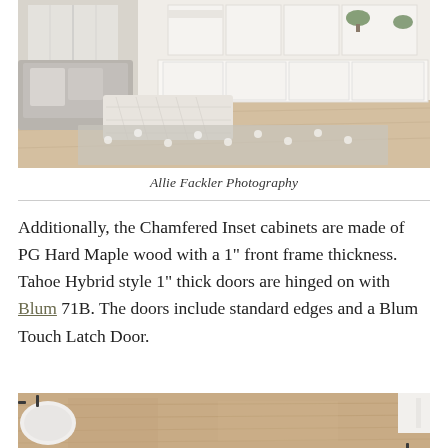[Figure (photo): Interior living room with light gray sofa, white tufted ottoman, polka dot rug on light wood floors, white built-in cabinetry and shelving in background, large windows with natural light]
Allie Fackler Photography
Additionally, the Chamfered Inset cabinets are made of PG Hard Maple wood with a 1" front frame thickness. Tahoe Hybrid style 1" thick doors are hinged on with Blum 71B. The doors include standard edges and a Blum Touch Latch Door.
[Figure (photo): Close-up of a wood-grain countertop surface with white undermount sink and black hardware visible at edges]